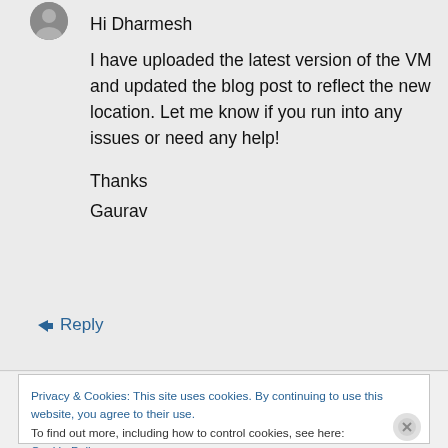[Figure (photo): Small circular avatar photo of a person]
Hi Dharmesh
I have uploaded the latest version of the VM and updated the blog post to reflect the new location. Let me know if you run into any issues or need any help!

Thanks
Gaurav
↳ Reply
Privacy & Cookies: This site uses cookies. By continuing to use this website, you agree to their use.
To find out more, including how to control cookies, see here: Cookie Policy
Close and accept